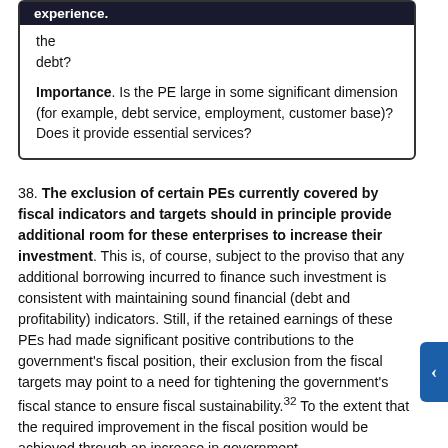the experience. debt?
Importance. Is the PE large in some significant dimension (for example, debt service, employment, customer base)? Does it provide essential services?
38. The exclusion of certain PEs currently covered by fiscal indicators and targets should in principle provide additional room for these enterprises to increase their investment. This is, of course, subject to the proviso that any additional borrowing incurred to finance such investment is consistent with maintaining sound financial (debt and profitability) indicators. Still, if the retained earnings of these PEs had made significant positive contributions to the government's fiscal position, their exclusion from the fiscal targets may point to a need for tightening the government's fiscal stance to ensure fiscal sustainability.32 To the extent that the required improvement in the fiscal position would be achieved through an increase in government